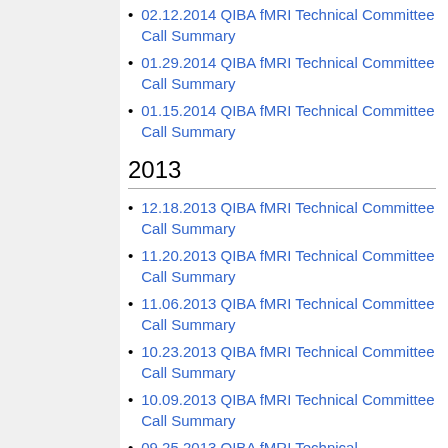02.12.2014 QIBA fMRI Technical Committee Call Summary
01.29.2014 QIBA fMRI Technical Committee Call Summary
01.15.2014 QIBA fMRI Technical Committee Call Summary
2013
12.18.2013 QIBA fMRI Technical Committee Call Summary
11.20.2013 QIBA fMRI Technical Committee Call Summary
11.06.2013 QIBA fMRI Technical Committee Call Summary
10.23.2013 QIBA fMRI Technical Committee Call Summary
10.09.2013 QIBA fMRI Technical Committee Call Summary
09.25.2013 QIBA fMRI Technical Committee Call Summary